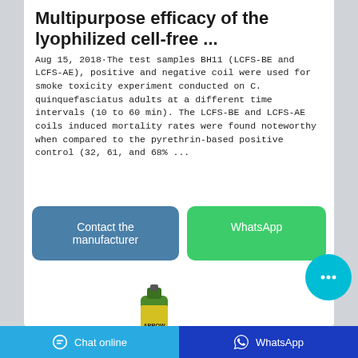Multipurpose efficacy of the lyophilized cell-free ...
Aug 15, 2018·The test samples BH11 (LCFS-BE and LCFS-AE), positive and negative coil were used for smoke toxicity experiment conducted on C. quinquefasciatus adults at a different time intervals (10 to 60 min). The LCFS-BE and LCFS-AE coils induced mortality rates were found noteworthy when compared to the pyrethrin-based positive control (32, 61, and 68% ...
[Figure (screenshot): Two action buttons: 'Contact the manufacturer' (blue-gray) and 'WhatsApp' (green)]
[Figure (photo): Green Arrow brand aerosol spray can product image]
[Figure (screenshot): Floating cyan chat bubble button with ellipsis icon]
Chat online   WhatsApp